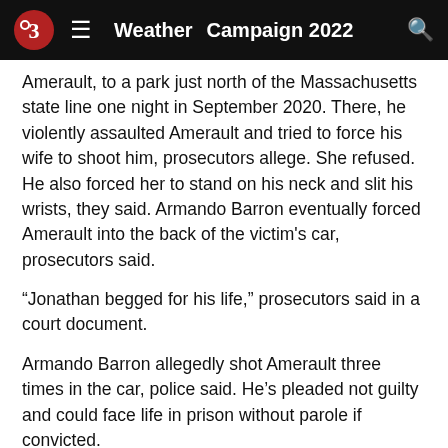Weather  Campaign 2022
Amerault, to a park just north of the Massachusetts state line one night in September 2020. There, he violently assaulted Amerault and tried to force his wife to shoot him, prosecutors allege. She refused. He also forced her to stand on his neck and slit his wrists, they said. Armando Barron eventually forced Amerault into the back of the victim's car, prosecutors said.
“Jonathan begged for his life,” prosecutors said in a court document.
Armando Barron allegedly shot Amerault three times in the car, police said. He’s pleaded not guilty and could face life in prison without parole if convicted.
[Figure (photo): Photo of a man with dark hair and beard, partially visible at the bottom of the page, with a gray background and a small close button overlay.]